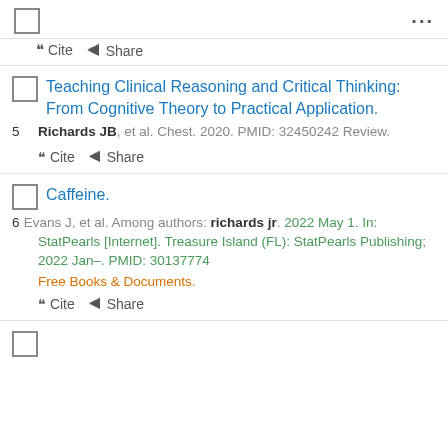... (menu)
Cite  Share
5. Teaching Clinical Reasoning and Critical Thinking: From Cognitive Theory to Practical Application. Richards JB, et al. Chest. 2020. PMID: 32450242 Review.
Cite  Share
6. Caffeine. Evans J, et al. Among authors: richards jr. 2022 May 1. In: StatPearls [Internet]. Treasure Island (FL): StatPearls Publishing; 2022 Jan–. PMID: 30137774 Free Books & Documents.
Cite  Share